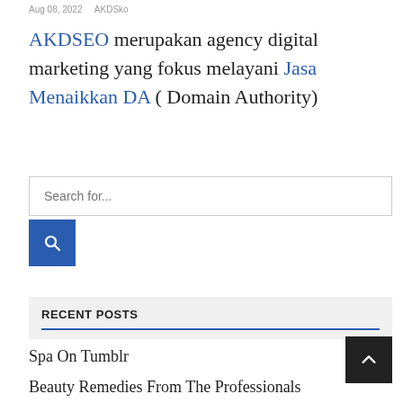Aug 08, 2022   AKDSko
AKDSEO merupakan agency digital marketing yang fokus melayani Jasa Menaikkan DA ( Domain Authority)
Search for...
RECENT POSTS
Spa On Tumblr
Beauty Remedies From The Professionals